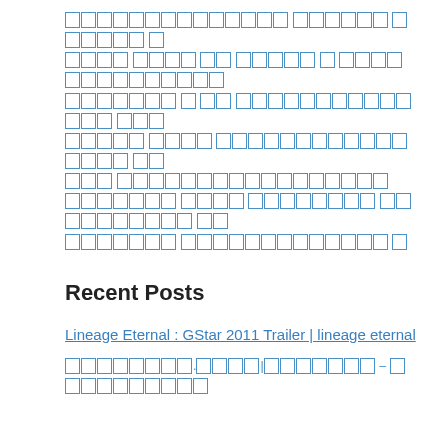[garbled/corrupted text with box characters in blue - appears to be non-Latin script rendered as replacement characters]
Recent Posts
Lineage Eternal : GStar 2011 Trailer | lineage eternal
[garbled link text with box characters]